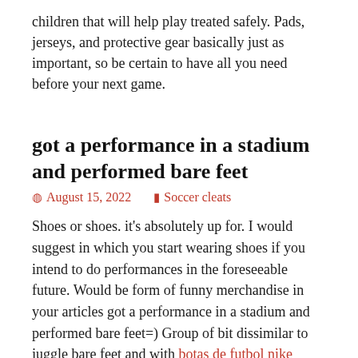children that will help play treated safely. Pads, jerseys, and protective gear basically just as important, so be certain to have all you need before your next game.
got a performance in a stadium and performed bare feet
August 15, 2022    Soccer cleats
Shoes or shoes. it's absolutely up for. I would suggest in which you start wearing shoes if you intend to do performances in the foreseeable future. Would be form of funny merchandise in your articles got a performance in a stadium and performed bare feet=) Group of bit dissimilar to juggle bare feet and with botas de futbol nike baratas shoes.